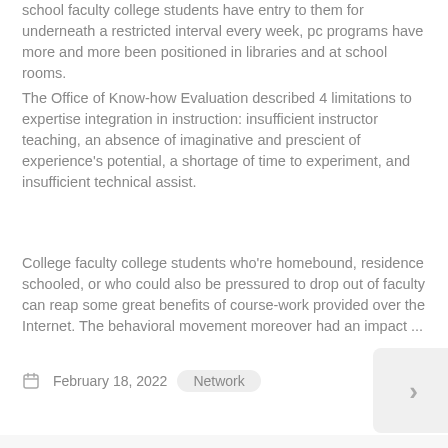school faculty college students have entry to them for underneath a restricted interval every week, pc programs have more and more been positioned in libraries and at school rooms.
The Office of Know-how Evaluation described 4 limitations to expertise integration in instruction: insufficient instructor teaching, an absence of imaginative and prescient of experience's potential, a shortage of time to experiment, and insufficient technical assist.
College faculty college students who're homebound, residence schooled, or who could also be pressured to drop out of faculty can reap some great benefits of course-work provided over the Internet. The behavioral movement moreover had an impact ...
February 18, 2022   Network